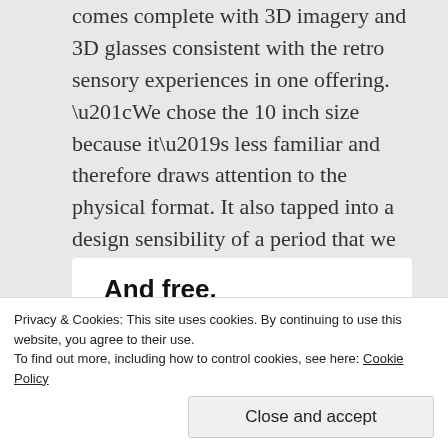comes complete with 3D imagery and 3D glasses consistent with the retro sensory experiences in one offering. “We chose the 10 inch size because it’s less familiar and therefore draws attention to the physical format. It also tapped into a design sensibility of a period that we thought worked well with the music” (Karl Steven).
[Figure (other): A white card element with bold text 'And free.' and three circular avatar photos below it, followed by a blue circle with a plus sign.]
Privacy & Cookies: This site uses cookies. By continuing to use this website, you agree to their use.
To find out more, including how to control cookies, see here: Cookie Policy
Close and accept